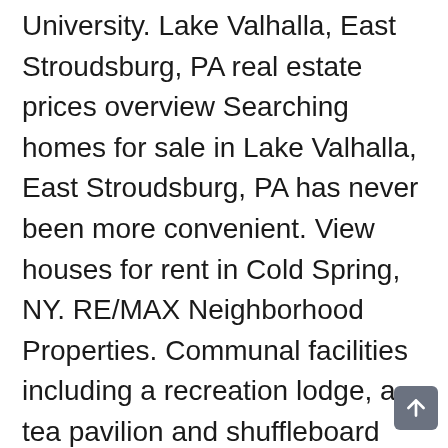University. Lake Valhalla, East Stroudsburg, PA real estate prices overview Searching homes for sale in Lake Valhalla, East Stroudsburg, PA has never been more convenient. View houses for rent in Cold Spring, NY. RE/MAX Neighborhood Properties. Communal facilities including a recreation lodge, a tea pavilion and shuffleboard and tennis courts were also available to residents. $269,000. Search Cold Spring NY homes for sale, connect with a Cold Spring real estate agent or just learn more about the Cold Spring real estate market. Real Estate Experts in Lake Valhalla, East Stroudsburg, PA. Finding homes for sale in Lake Valhalla, East Stroudsburg, PA has never been easier as our comprehensive directory currently contains more than 8 listings! Follow Brownstoner on Twitter and Instagram, and like us on Facebook